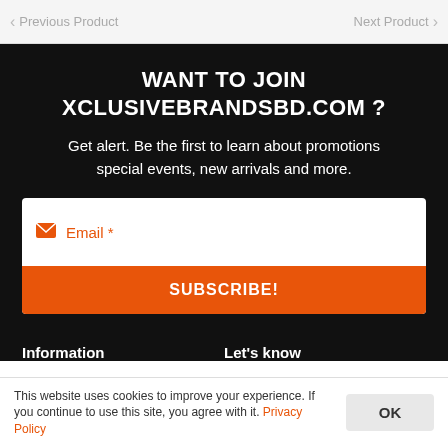Previous Product   Next Product
WANT TO JOIN XCLUSIVEBRANDSBD.COM ?
Get alert. Be the first to learn about promotions special events, new arrivals and more.
[Figure (screenshot): Email subscription form with an email input field showing an envelope icon and 'Email *' placeholder, and an orange 'SUBSCRIBE!' button below.]
Information
Let's know
This website uses cookies to improve your experience. If you continue to use this site, you agree with it. Privacy Policy  OK